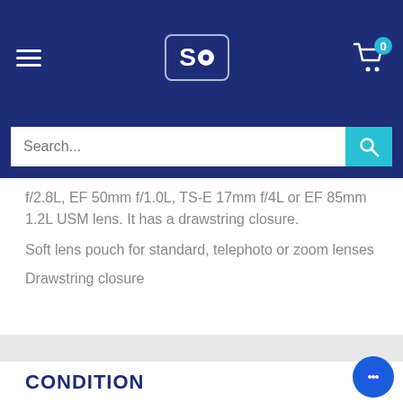[Figure (screenshot): Website header with dark navy background showing hamburger menu icon on the left, SO camera logo in center-left, and shopping cart icon with badge '0' on the right]
[Figure (screenshot): Search bar with white input field showing placeholder 'Search...' and teal search button with magnifying glass icon]
f/2.8L, EF 50mm f/1.0L, TS-E 17mm f/4L or EF 85mm 1.2L USM lens. It has a drawstring closure.
Soft lens pouch for standard, telephoto or zoom lenses
Drawstring closure
CONDITION
NEW